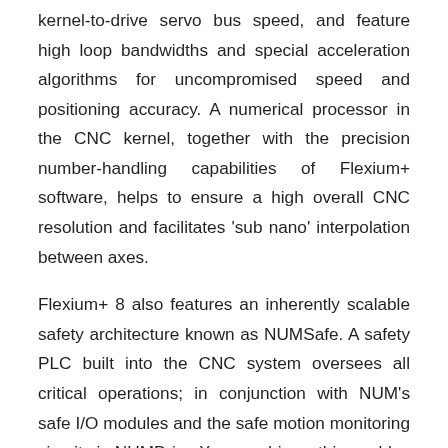kernel-to-drive servo bus speed, and feature high loop bandwidths and special acceleration algorithms for uncompromised speed and positioning accuracy. A numerical processor in the CNC kernel, together with the precision number-handling capabilities of Flexium+ software, helps to ensure a high overall CNC resolution and facilitates 'sub nano' interpolation between axes.
Flexium+ 8 also features an inherently scalable safety architecture known as NUMSafe. A safety PLC built into the CNC system oversees all critical operations; in conjunction with NUM's safe I/O modules and the safe motion monitoring circuits in NUMDrive X servo drives, this enables machine designers to implement high-integrity safety functions using minimal additional